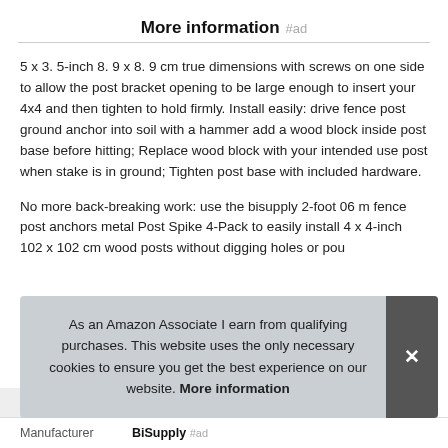More information #ad
5 x 3. 5-inch 8. 9 x 8. 9 cm true dimensions with screws on one side to allow the post bracket opening to be large enough to insert your 4x4 and then tighten to hold firmly. Install easily: drive fence post ground anchor into soil with a hammer add a wood block inside post base before hitting; Replace wood block with your intended use post when stake is in ground; Tighten post base with included hardware.
No more back-breaking work: use the bisupply 2-foot 06 m fence post anchors metal Post Spike 4-Pack to easily install 4 x 4-inch 102 x 102 cm wood posts without digging holes or pou
As an Amazon Associate I earn from qualifying purchases. This website uses the only necessary cookies to ensure you get the best experience on our website. More information
|  |  |
| --- | --- |
| Manufacturer | BiSupply #ad |